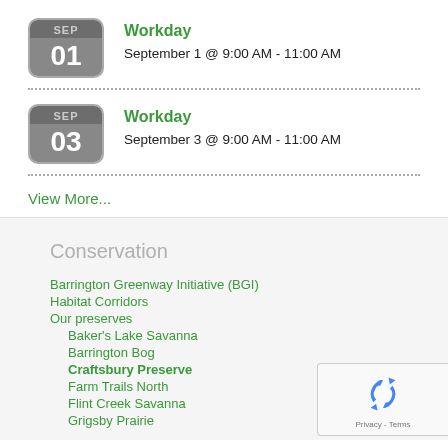Workday
September 1 @ 9:00 AM - 11:00 AM
Workday
September 3 @ 9:00 AM - 11:00 AM
View More...
Conservation
Barrington Greenway Initiative (BGI)
Habitat Corridors
Our preserves
Baker's Lake Savanna
Barrington Bog
Craftsbury Preserve
Farm Trails North
Flint Creek Savanna
Grigsby Prairie